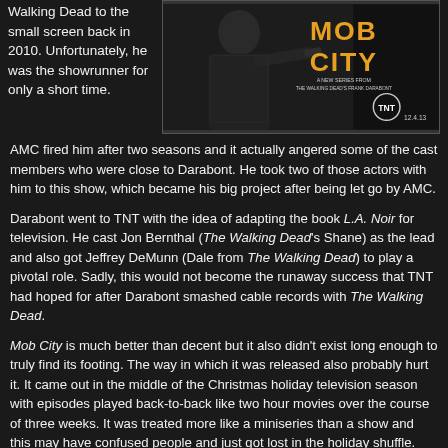Walking Dead to the small screen back in 2010. Unfortunately, he was the showrunner for only a short time.
[Figure (photo): Mob City TV show poster for TNT, showing a man in a suit holding a gun with yellow text 'MOB CITY' and tagline 'A New Series From The Walking Dead's Frank Darabont'. Premiere date 12.4.13.]
AMC fired him after two seasons and it actually angered some of the cast members who were close to Darabont. He took two of those actors with him to this show, which became his big project after being let go by AMC.
Darabont went to TNT with the idea of adapting the book L.A. Noir for television. He cast Jon Bernthal (The Walking Dead's Shane) as the lead and also got Jeffrey DeMunn (Dale from The Walking Dead) to play a pivotal role. Sadly, this would not become the runaway success that TNT had hoped for after Darabont smashed cable records with The Walking Dead.
Mob City is much better than decent but it also didn't exist long enough to truly find its footing. The way in which it was released also probably hurt it. It came out in the middle of the Christmas holiday television season with episodes played back-to-back like two hour movies over the course of three weeks. It was treated more like a miniseries than a show and this may have confused people and just got lost in the holiday shuffle.